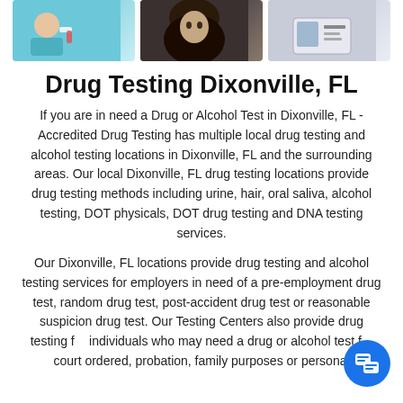[Figure (photo): Three photos across top: medical professional with samples, person with dark hair, person holding ID card]
Drug Testing Dixonville, FL
If you are in need a Drug or Alcohol Test in Dixonville, FL - Accredited Drug Testing has multiple local drug testing and alcohol testing locations in Dixonville, FL and the surrounding areas. Our local Dixonville, FL drug testing locations provide drug testing methods including urine, hair, oral saliva, alcohol testing, DOT physicals, DOT drug testing and DNA testing services.
Our Dixonville, FL locations provide drug testing and alcohol testing services for employers in need of a pre-employment drug test, random drug test, post-accident drug test or reasonable suspicion drug test. Our Testing Centers also provide drug testing for individuals who may need a drug or alcohol test for court ordered, probation, family purposes or personal